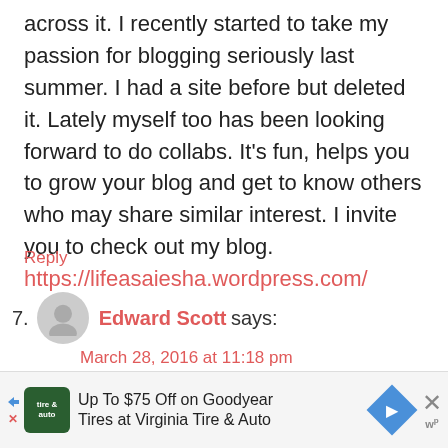across it. I recently started to take my passion for blogging seriously last summer. I had a site before but deleted it. Lately myself too has been looking forward to do collabs. It's fun, helps you to grow your blog and get to know others who may share similar interest. I invite you to check out my blog. https://lifeasaiesha.wordpress.com/
Reply
7. Edward Scott says: March 28, 2016 at 11:18 pm
This was such a great article, thank you...
[Figure (other): Advertisement banner: Up To $75 Off on Goodyear Tires at Virginia Tire & Auto]